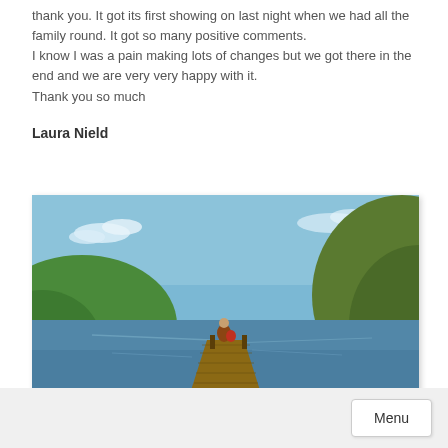thank you. It got its first showing on last night when we had all the family round. It got so many positive comments. I know I was a pain making lots of changes but we got there in the end and we are very very happy with it. Thank you so much
Laura Nield
[Figure (photo): A person sitting at the end of a wooden dock/pier extending into a calm blue lake surrounded by green hills, viewed from behind.]
Menu